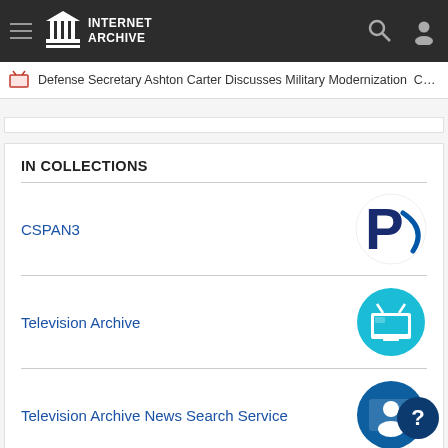INTERNET ARCHIVE
Defense Secretary Ashton Carter Discusses Military Modernization CSPAN ...
IN COLLECTIONS
CSPAN3
Television Archive
Television Archive News Search Service